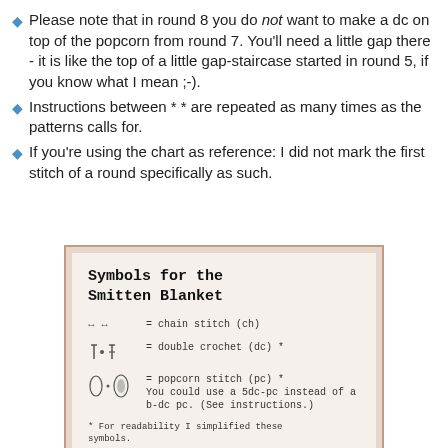Please note that in round 8 you do not want to make a dc on top of the popcorn from round 7. You'll need a little gap there - it is like the top of a little gap-staircase started in round 5, if you know what I mean ;-).
Instructions between * * are repeated as many times as the patterns calls for.
If you're using the chart as reference: I did not mark the first stitch of a round specifically as such.
[Figure (illustration): A chart card titled 'Symbols for the Smitten Blanket' showing crochet symbols: chain stitch (ch), double crochet (dc), popcorn stitch (pc) with note about 5dc-pc, and a footnote about simplified symbols.]